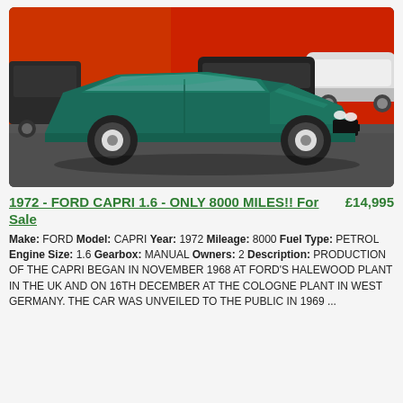[Figure (photo): A green Ford Capri 1.6 (1972) parked in a classic car showroom, with other classic cars visible in the background including a Ford Mustang. The car is teal/dark green and facing toward the viewer at an angle.]
1972 - FORD CAPRI 1.6 - ONLY 8000 MILES!! For Sale   £14,995
Make: FORD Model: CAPRI Year: 1972 Mileage: 8000 Fuel Type: PETROL Engine Size: 1.6 Gearbox: MANUAL Owners: 2 Description: PRODUCTION OF THE CAPRI BEGAN IN NOVEMBER 1968 AT FORD'S HALEWOOD PLANT IN THE UK AND ON 16TH DECEMBER AT THE COLOGNE PLANT IN WEST GERMANY. THE CAR WAS UNVEILED TO THE PUBLIC IN 1969 ...